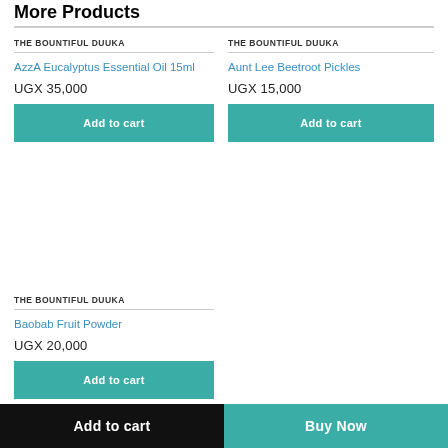More Products
THE BOUNTIFUL DUUKA
AzzA Eucalyptus Essential Oil 15ml
UGX 35,000
Add to cart
THE BOUNTIFUL DUUKA
Aunt Lee Beetroot Pickles
UGX 15,000
Add to cart
THE BOUNTIFUL DUUKA
Baobab Fruit Powder
UGX 20,000
Add to cart
Add to cart   Buy Now